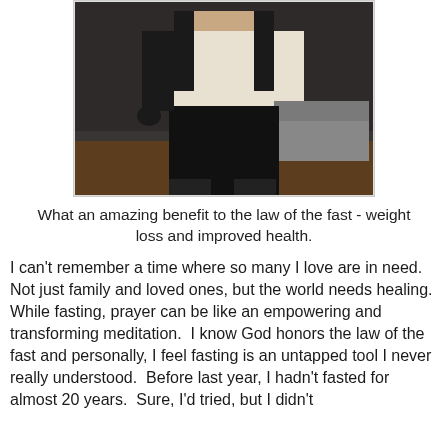[Figure (photo): A person standing, wearing a white/cream top and dark pants, photographed from chest/shoulders down. Indoor setting with dark background and some furniture visible.]
What an amazing benefit to the law of the fast - weight loss and improved health.
I can't remember a time where so many I love are in need.  Not just family and loved ones, but the world needs healing. While fasting, prayer can be like an empowering and transforming meditation.  I know God honors the law of the fast and personally, I feel fasting is an untapped tool I never really understood.  Before last year, I hadn't fasted for almost 20 years.  Sure, I'd tried, but I didn't